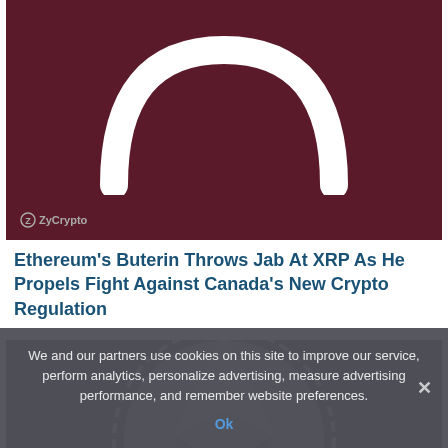[Figure (illustration): Dark maroon/burgundy background with a white arch/boomerang shape in the center. ZyCrypto logo in bottom left corner.]
Ethereum's Buterin Throws Jab At XRP As He Propels Fight Against Canada's New Crypto Regulation
[Figure (illustration): Dark background with Ethereum-style logo: a dashed circle outline and a geometric diamond/arrow shape in gray tones.]
We and our partners use cookies on this site to improve our service, perform analytics, personalize advertising, measure advertising performance, and remember website preferences.
Ok